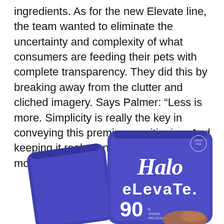ingredients. As for the new Elevate line, the team wanted to eliminate the uncertainty and complexity of what consumers are feeding their pets with complete transparency. They did this by breaking away from the clutter and cliched imagery. Says Palmer: “Less is more. Simplicity is really the key in conveying this premium positioning. And keeping it real. Consumers relate to moments they can identify with.”
[Figure (photo): Two Halo Elevate purple pet food pouches. The front pouch shows the Halo Elevate logo in white script on a purple background with '90' visible at the bottom. A second purple pouch is partially visible behind and to the left.]